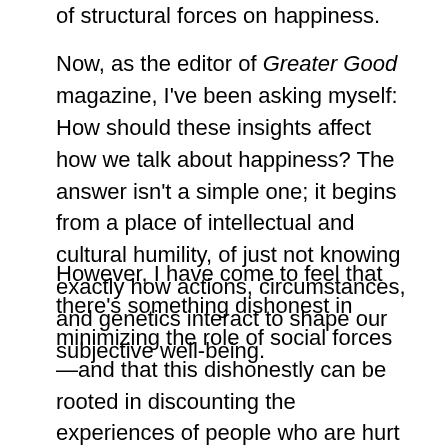of structural forces on happiness.
Now, as the editor of Greater Good magazine, I've been asking myself: How should these insights affect how we talk about happiness? The answer isn't a simple one; it begins from a place of intellectual and cultural humility, of just not knowing exactly how actions, circumstances, and genetics interact to shape our subjective well-being.
However, I have come to feel that there's something dishonest in minimizing the role of social forces—and that this dishonestly can be rooted in discounting the experiences of people who are hurt or marginalized by those forces. We need to try to talk about happiness in a way that will, I hope, feel truer to a wider number of